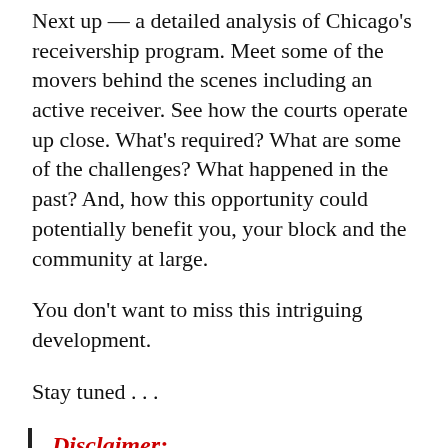Next up — a detailed analysis of Chicago's receivership program. Meet some of the movers behind the scenes including an active receiver. See how the courts operate up close. What's required? What are some of the challenges? What happened in the past? And, how this opportunity could potentially benefit you, your block and the community at large.
You don't want to miss this intriguing development.
Stay tuned . . .
Disclaimer:
This is a personal blog for the above